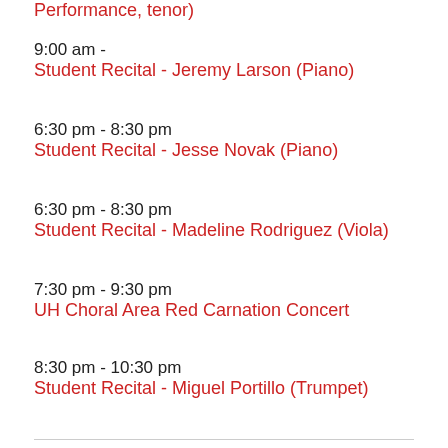Performance, tenor)
9:00 am -
Student Recital - Jeremy Larson (Piano)
6:30 pm - 8:30 pm
Student Recital - Jesse Novak (Piano)
6:30 pm - 8:30 pm
Student Recital - Madeline Rodriguez (Viola)
7:30 pm - 9:30 pm
UH Choral Area Red Carnation Concert
8:30 pm - 10:30 pm
Student Recital - Miguel Portillo (Trumpet)